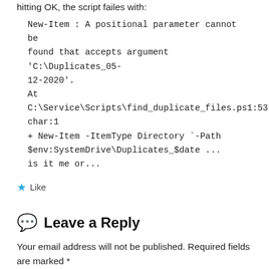hitting OK, the script failes with:
New-Item : A positional parameter cannot be found that accepts argument ‘C:\Duplicates_05-12-2020’.
At C:\Service\Scripts\find_duplicate_files.ps1:53 char:1
+ New-Item -ItemType Directory `-Path $env:SystemDrive\Duplicates_$date ...
is it me or...
Like
Leave a Reply
Your email address will not be published. Required fields are marked *